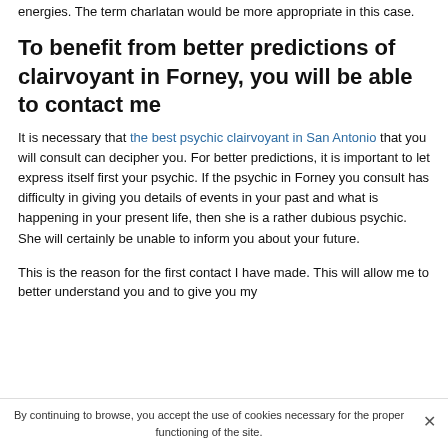energies. The term charlatan would be more appropriate in this case.
To benefit from better predictions of clairvoyant in Forney, you will be able to contact me
It is necessary that the best psychic clairvoyant in San Antonio that you will consult can decipher you. For better predictions, it is important to let express itself first your psychic. If the psychic in Forney you consult has difficulty in giving you details of events in your past and what is happening in your present life, then she is a rather dubious psychic. She will certainly be unable to inform you about your future.
This is the reason for the first contact I have made. This will allow me to better understand you and to give you my
By continuing to browse, you accept the use of cookies necessary for the proper functioning of the site.